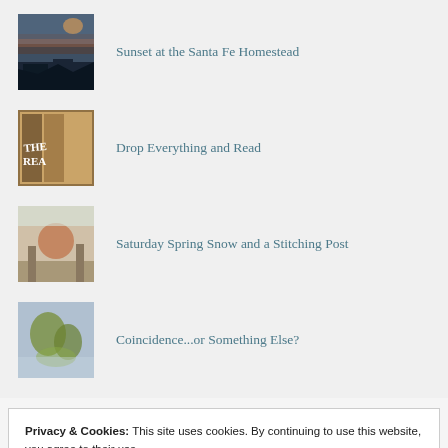Sunset at the Santa Fe Homestead
Drop Everything and Read
Saturday Spring Snow and a Stitching Post
Coincidence...or Something Else?
Privacy & Cookies: This site uses cookies. By continuing to use this website, you agree to their use.
To find out more, including how to control cookies, see here: Cookie Policy
Close and accept
Garden Grumbles and Cross Stitch Fumbles